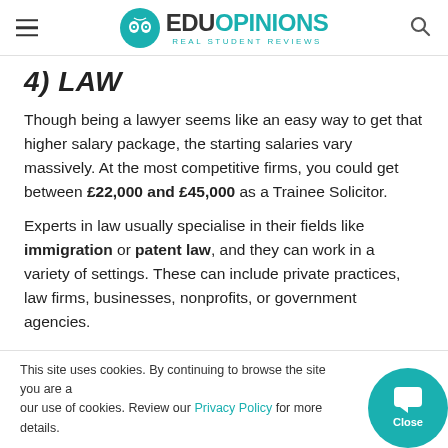EduOpinions — Real Student Reviews
4) LAW
Though being a lawyer seems like an easy way to get that higher salary package, the starting salaries vary massively. At the most competitive firms, you could get between £22,000 and £45,000 as a Trainee Solicitor.
Experts in law usually specialise in their fields like immigration or patent law, and they can work in a variety of settings. These can include private practices, law firms, businesses, nonprofits, or government agencies.
How to become a lawyer: To become a lawyer, you need to study for LSAT. It's only through LSAT or…
This site uses cookies. By continuing to browse the site you are agreeing to our use of cookies. Review our Privacy Policy for more details.